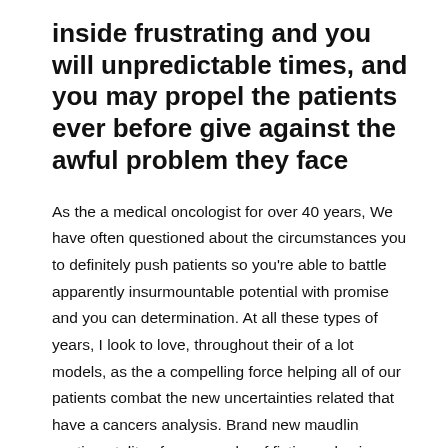inside frustrating and you will unpredictable times, and you may propel the patients ever before give against the awful problem they face
As the a medical oncologist for over 40 years, We have often questioned about the circumstances you to definitely push patients so you're able to battle apparently insurmountable potential with promise and you can determination. At all these types of years, I look to love, throughout their of a lot models, as the a compelling force helping all of our patients combat the new uncertainties related that have a cancers analysis. Brand new maudlin sentimentality of some works of fiction pales in contrast toward bravery and strength one to define all of our clients. Whenever i disperse for the the termination of my career, I a lot more totally realize it is love you to definitely lies trailing this new resilience regarding unnecessary of our patients, just like Commendable laureate Gabriel Garcia Marquez demonstrated in